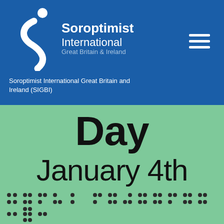[Figure (logo): Soroptimist International Great Britain & Ireland logo with stylized figure in white on blue background]
Soroptimist International Great Britain and Ireland (SIGBI)
[Figure (illustration): Green background image with bold black text reading 'Day' and 'January 4th' with braille dots at the bottom]